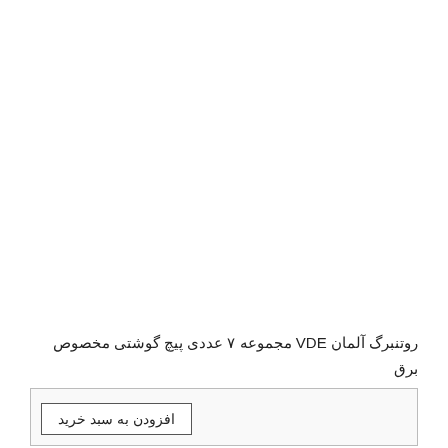روتنبرگ آلمان VDE مجموعه ۷ عددی پیچ گوشتی مخصوص برق ۷٬۴۵۱٬۱۰۰ ریال
افزودن به سبد خرید